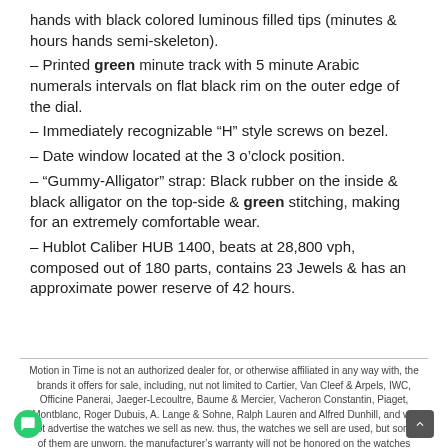hands with black colored luminous filled tips (minutes & hours hands semi-skeleton).
– Printed green minute track with 5 minute Arabic numerals intervals on flat black rim on the outer edge of the dial.
– Immediately recognizable “H” style screws on bezel.
– Date window located at the 3 o'clock position.
– “Gummy-Alligator” strap: Black rubber on the inside & black alligator on the top-side & green stitching, making for an extremely comfortable wear.
– Hublot Caliber HUB 1400, beats at 28,800 vph, composed out of 180 parts, contains 23 Jewels & has an approximate power reserve of 42 hours.
Motion in Time is not an authorized dealer for, or otherwise affiliated in any way with, the brands it offers for sale, including, nut not limited to Cartier, Van Cleef & Arpels, IWC, Officine Panerai, Jaeger-Lecoultre, Baume & Mercier, Vacheron Constantin, Piaget, Montblanc, Roger Dubuis, A. Lange & Sohne, Ralph Lauren and Alfred Dunhill, and we not advertise the watches we sell as new. thus, the watches we sell are used, but some of them are unworn. the manufacturer’s warranty will not be honored on the watches sold by motion in time.